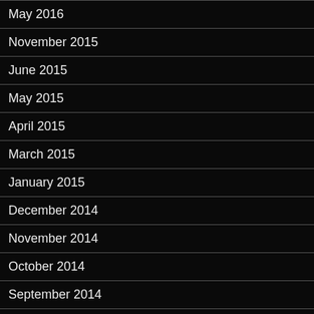May 2016
November 2015
June 2015
May 2015
April 2015
March 2015
January 2015
December 2014
November 2014
October 2014
September 2014
August 2014